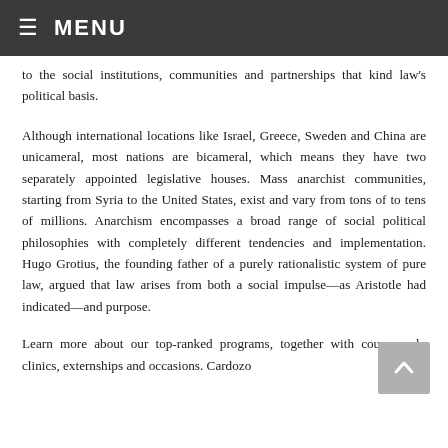≡ MENU
to the social institutions, communities and partnerships that kind law's political basis.
Although international locations like Israel, Greece, Sweden and China are unicameral, most nations are bicameral, which means they have two separately appointed legislative houses. Mass anarchist communities, starting from Syria to the United States, exist and vary from tons of to tens of millions. Anarchism encompasses a broad range of social political philosophies with completely different tendencies and implementation. Hugo Grotius, the founding father of a purely rationalistic system of pure law, argued that law arises from both a social impulse—as Aristotle had indicated—and purpose.
Learn more about our top-ranked programs, together with coursework, clinics, externships and occasions. Cardozo